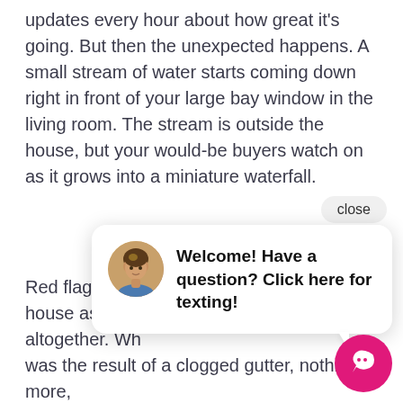updates every hour about how great it's going. But then the unexpected happens. A small stream of water starts coming down right in front of your large bay window in the living room. The stream is outside the house, but your would-be buyers watch on as it grows into a miniature waterfall.
[Figure (screenshot): Chat widget popup with avatar of a woman and text: Welcome! Have a question? Click here for texting! Close button in top right. Pink circular chat button in bottom right corner.]
Red flags go up with everyone touring the house as the buyers decide to leave altogether. What really happened? It was the result of a clogged gutter, nothing more, causing water to spill over in a very inopportune and at the worst time.